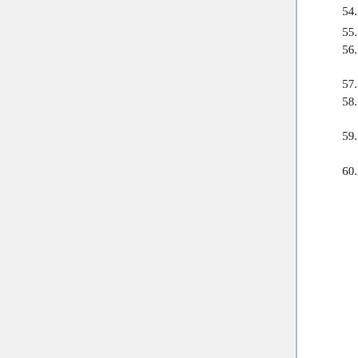54. ↑ 54.0 54.1 54.2 Richardson, p. 33
55. ↑ Richardson, p. 34
56. ↑ Erik Gartzke, "Economic Freedom and Peace," in Economic Freedom of the World: 2005 Annual Report (Vancouver: Fraser Institute, 2005).
57. ↑ Template:Cite doi
58. ↑ Michael Doyle, Ways of War and Peace: Realism, Liberalism, and Socialism (New York: Norton, 1997), 237 (ISBN 0-393-96947-9).
59. ↑ Edward P. Stringham, "Commerce, Markets, and Peace: Richard Cobden's Enduring Lessons", Independent Review 9, no. 1 (2004): 105, 110, 115.
60. ↑ Daniel T. Griswold, "Peace on